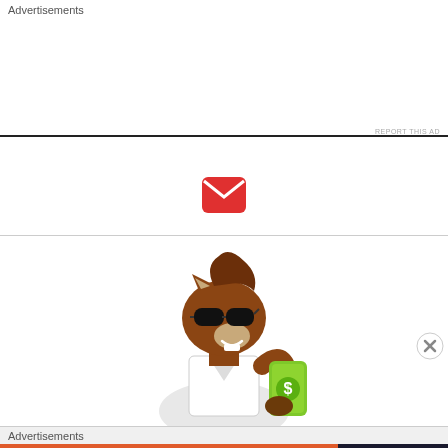Advertisements
REPORT THIS AD
[Figure (illustration): Red envelope mail icon with white envelope flap design]
[Figure (illustration): Cartoon horse mascot wearing sunglasses and a white polo shirt, holding a green phone/card with a dollar sign]
Advertisements
[Figure (illustration): DuckDuckGo advertisement banner: orange left side with text 'Search, browse, and email with more privacy. All in One Free App' and dark right side with DuckDuckGo duck logo and text 'DuckDuckGo']
REPORT THIS AD